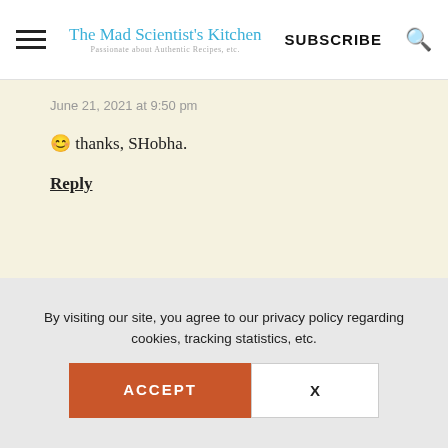The Mad Scientist's Kitchen | SUBSCRIBE
June 21, 2021 at 9:50 pm
😊 thanks, SHobha.
Reply
By visiting our site, you agree to our privacy policy regarding cookies, tracking statistics, etc.